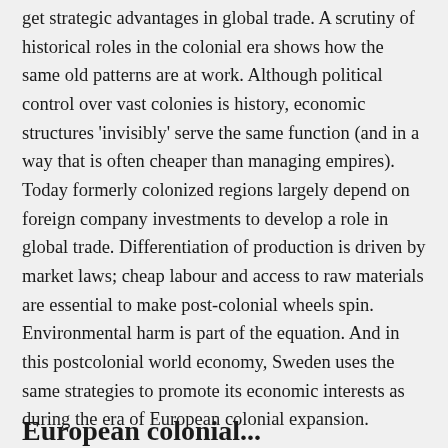get strategic advantages in global trade. A scrutiny of historical roles in the colonial era shows how the same old patterns are at work. Although political control over vast colonies is history, economic structures 'invisibly' serve the same function (and in a way that is often cheaper than managing empires). Today formerly colonized regions largely depend on foreign company investments to develop a role in global trade. Differentiation of production is driven by market laws; cheap labour and access to raw materials are essential to make post-colonial wheels spin. Environmental harm is part of the equation. And in this postcolonial world economy, Sweden uses the same strategies to promote its economic interests as during the era of European colonial expansion.
European colonial...